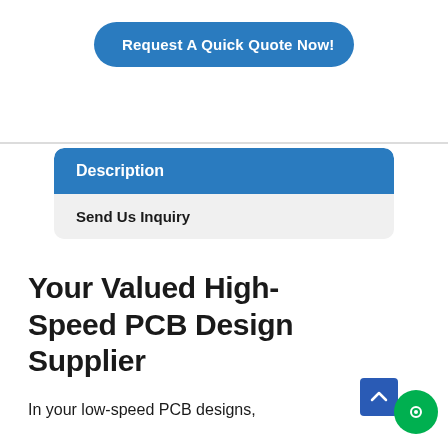[Figure (other): Blue rounded button labeled 'Request A Quick Quote Now!']
Description
Send Us Inquiry
Your Valued High-Speed PCB Design Supplier
In your low-speed PCB designs,